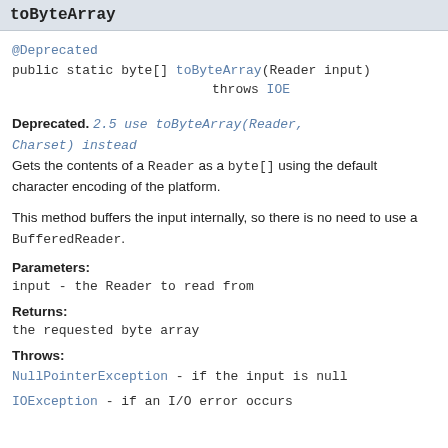toByteArray
@Deprecated
public static byte[] toByteArray(Reader input)
                               throws IOE
Deprecated. 2.5 use toByteArray(Reader, Charset) instead
Gets the contents of a Reader as a byte[] using the default character encoding of the platform.

This method buffers the input internally, so there is no need to use a BufferedReader.
Parameters:
input - the Reader to read from
Returns:
the requested byte array
Throws:
NullPointerException - if the input is null
IOException - if an I/O error occurs